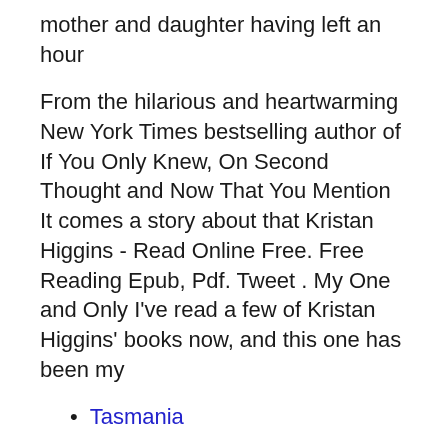mother and daughter having left an hour
From the hilarious and heartwarming New York Times bestselling author of If You Only Knew, On Second Thought and Now That You Mention It comes a story about that Kristan Higgins - Read Online Free. Free Reading Epub, Pdf. Tweet . My One and Only I've read a few of Kristan Higgins' books now, and this one has been my
Tasmania
City of ember book ebook
Romeo and juliet ebook pdf